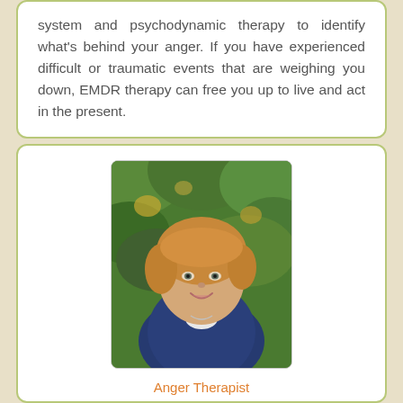system and psychodynamic therapy to identify what's behind your anger. If you have experienced difficult or traumatic events that are weighing you down, EMDR therapy can free you up to live and act in the present.
[Figure (photo): Portrait photo of a smiling blonde woman in a navy blazer against a green leafy background]
Anger Therapist
Tonia Vojtkofsky, PsyD
Licensed Clinical Psychologist